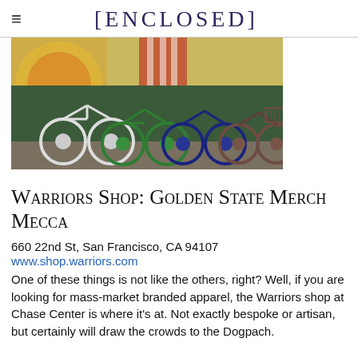[ENCLOSED]
[Figure (photo): Several bicycles parked in front of a colorful mural, including a white e-bike, green bike, dark blue/navy bike, and brown-wheeled bike. Urban street scene.]
Warriors Shop: Golden State Merch Mecca
660 22nd St, San Francisco, CA 94107
www.shop.warriors.com
One of these things is not like the others, right? Well, if you are looking for mass-market branded apparel, the Warriors shop at Chase Center is where it's at. Not exactly bespoke or artisan, but certainly will draw the crowds to the Dogpach.